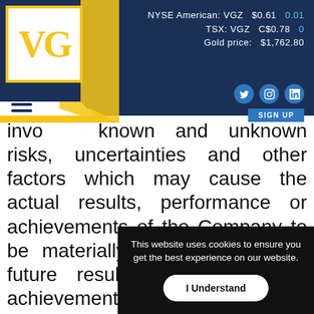NYSE American: VGZ $0.61 0.01 | TSX: VGZ C$0.78 0 | Gold price: $1,762.80
invo known and unknown risks, uncertainties and other factors which may cause the actual results, performance or achievements of the Company to be materially different from any future results, performance or achievements expressed or implied by such statements. Such factors include, among others, uncertainties inherent in the exploration of mineral properties, the possibility that fu will not be o Company's expec assurance that th
This website uses cookies to ensure you get the best experience on our website.